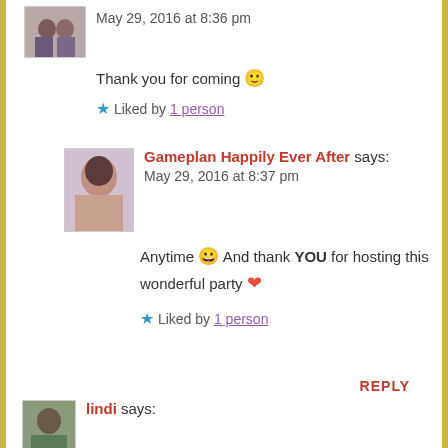May 29, 2016 at 8:36 pm
Thank you for coming 🙂
★ Liked by 1 person
Gameplan Happily Ever After says:
May 29, 2016 at 8:37 pm
Anytime 😀 And thank YOU for hosting this wonderful party ❤
★ Liked by 1 person
REPLY
lindi says: